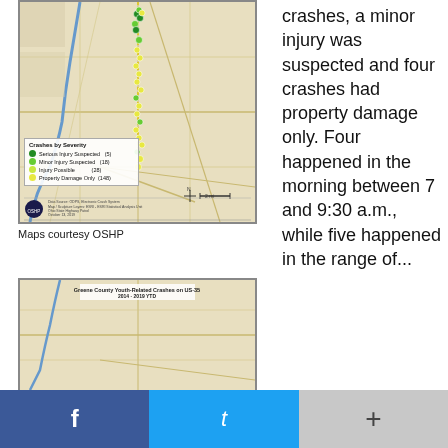[Figure (map): Map showing crashes by severity along US-35 in Greene County area, with colored dots indicating Serious Injury Suspected (5), Minor Injury Suspected (18), Injury Possible (28), Property Damage Only (148). Blue road/river lines and tan road network visible. Legend box in lower left. OSHP logo and data source info at bottom.]
Maps courtesy OSHP
[Figure (map): Map titled 'Greene County Youth-Related Crashes on US-35, 2014 - 2019 YTD' showing road network in tan/beige with blue river line.]
crashes, a minor injury was suspected and four crashes had property damage only. Four happened in the morning between 7 and 9:30 a.m., while five happened in the range of...
f    t    +